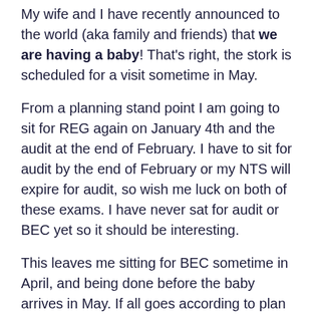My wife and I have recently announced to the world (aka family and friends) that we are having a baby! That's right, the stork is scheduled for a visit sometime in May.
From a planning stand point I am going to sit for REG again on January 4th and the audit at the end of February. I have to sit for audit by the end of February or my NTS will expire for audit, so wish me luck on both of these exams. I have never sat for audit or BEC yet so it should be interesting.
This leaves me sitting for BEC sometime in April, and being done before the baby arrives in May. If all goes according to plan I will be done with the exam in time for the baby, because it would totally suck to have to study with a newborn at home!
I am trying to have a positive attitude about this plan because it is the only way to approach this exam. I have gotten close every test, which I largely attribute to not doing well enough on the sims. My lowest exam score has been a 71 and my simulation score